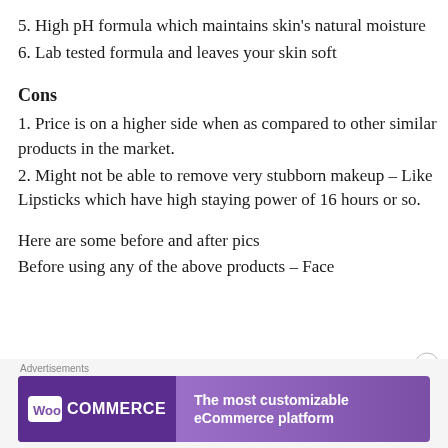5. High pH formula which maintains skin's natural moisture
6. Lab tested formula and leaves your skin soft
Cons
1. Price is on a higher side when as compared to other similar products in the market.
2. Might not be able to remove very stubborn makeup – Like Lipsticks which have high staying power of 16 hours or so.
Here are some before and after pics
Before using any of the above products – Face
[Figure (other): WooCommerce advertisement banner: 'The most customizable eCommerce platform']